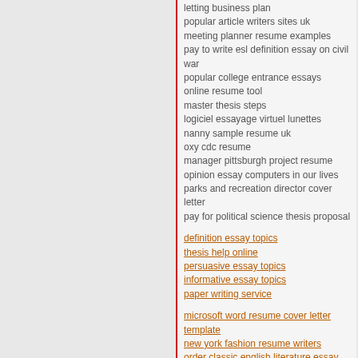letting business plan
popular article writers sites uk
meeting planner resume examples
pay to write esl definition essay on civil war
popular college entrance essays
online resume tool
master thesis steps
logiciel essayage virtuel lunettes
nanny sample resume uk
oxy cdc resume
manager pittsburgh project resume
opinion essay computers in our lives
parks and recreation director cover letter
pay for political science thesis proposal
definition essay topics
thesis help online
persuasive essay topics
informative essay topics
paper writing service
microsoft word resume cover letter template
new york fashion resume writers
order classic english literature essay
narrative essays on peer pressure
popular application letter editor site ca
pay for my philosop
popular critical analysis essay writer services online
oral defense of the docterial thesis
mosque near ground
mla formatting thesis